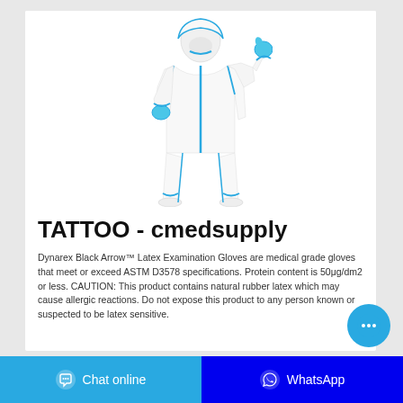[Figure (photo): Person wearing white full-body protective coverall suit with blue trim, hood, and blue gloves, giving thumbs up pose]
TATTOO - cmedsupply
Dynarex Black Arrow™ Latex Examination Gloves are medical grade gloves that meet or exceed ASTM D3578 specifications. Protein content is 50μg/dm2 or less. CAUTION: This product contains natural rubber latex which may cause allergic reactions. Do not expose this product to any person known or suspected to be latex sensitive.
[Figure (other): Floating chat bubble button (blue circle with three dots)]
Chat online | WhatsApp